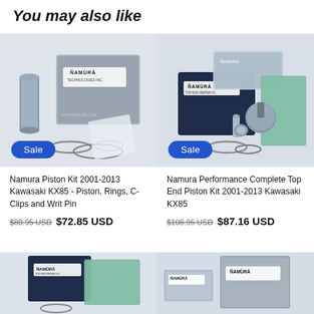You may also like
[Figure (photo): Namura Piston Kit product photo showing piston, rings, c-clips, wrist pin, and box. Sale badge overlay.]
[Figure (photo): Namura Performance Complete Top End Piston Kit product photo showing box, gaskets, piston, rings. Sale badge overlay.]
Namura Piston Kit 2001-2013 Kawasaki KX85 - Piston, Rings, C-Clips and Writ Pin
Namura Performance Complete Top End Piston Kit 2001-2013 Kawasaki KX85
$80.95 USD  $72.85 USD
$108.95 USD  $87.16 USD
[Figure (photo): Namura Top End Repair Kit product photo, bottom left.]
[Figure (photo): Namura product photo, bottom right.]